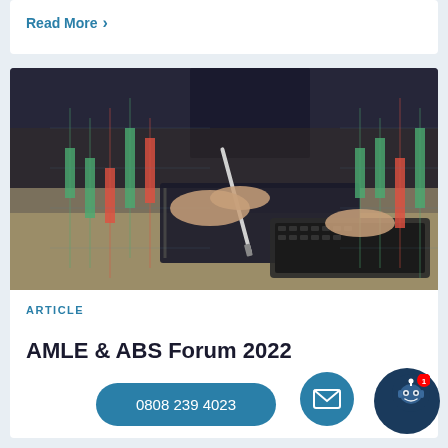Read More >
[Figure (photo): Business person in suit writing with pen on notebook, with laptop keyboard visible, overlaid with candlestick stock chart graphics in orange and green on dark blue background]
ARTICLE
AMLE & ABS Forum 2022
0808 239 4023
[Figure (other): Email icon button (envelope) - teal circular button]
[Figure (other): Chat bot button with smiley face icon and red notification badge showing 1]